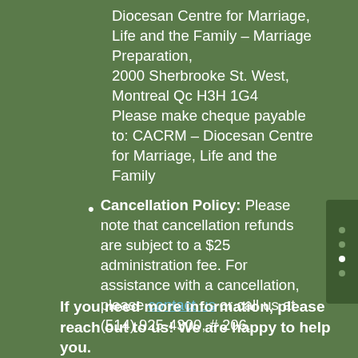Diocesan Centre for Marriage, Life and the Family – Marriage Preparation, 2000 Sherbrooke St. West, Montreal Qc H3H 1G4 Please make cheque payable to: CACRM – Diocesan Centre for Marriage, Life and the Family
Cancellation Policy: Please note that cancellation refunds are subject to a $25 administration fee. For assistance with a cancellation, please contact us or call us at (514) 925-4300, # 206.
If you need more information, please reach out to us! We are happy to help you.